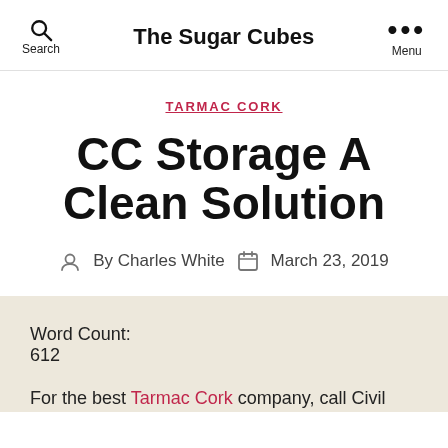The Sugar Cubes
TARMAC CORK
CC Storage A Clean Solution
By Charles White   March 23, 2019
Word Count:
612
For the best Tarmac Cork company, call Civil